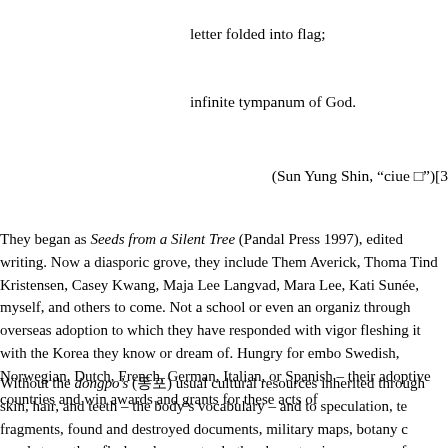letter folded into flag;
infinite tympanum of God.
(Sun Yung Shin, “ciue □”)[3
They began as Seeds from a Silent Tree (Pandal Press 1997), edited writing. Now a diasporic grove, they include Them Averick, Thoma Tind Kristensen, Casey Kwang, Maja Lee Langvad, Mara Lee, Kati Sunée, myself, and others to come. Not a school or even an organiz through overseas adoption to which they have responded with vigor fleshing it with the Korea they know or dream of. Hungry for embo Swedish, Norwegian, Dutch, French, German, Italian, or Spanish – their adoptive countries and win awards and grants for these acts of
Without the dongpo’s (동포) usual cultural resources inherited through skin, hair, and teeth – the body’s vocabulary – and to speculation, te fragments, found and destroyed documents, military maps, botany c words truer than flesh and more sturdy than bone to give erasure a f